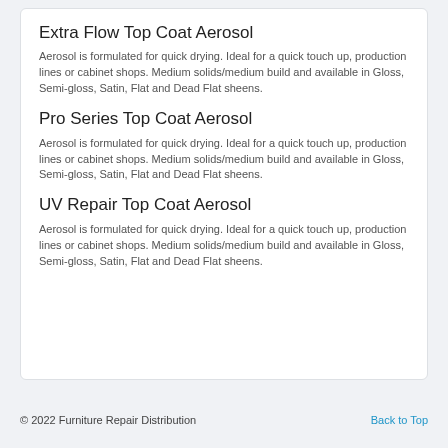Extra Flow Top Coat Aerosol
Aerosol is formulated for quick drying. Ideal for a quick touch up, production lines or cabinet shops. Medium solids/medium build and available in Gloss, Semi-gloss, Satin, Flat and Dead Flat sheens.
Pro Series Top Coat Aerosol
Aerosol is formulated for quick drying. Ideal for a quick touch up, production lines or cabinet shops. Medium solids/medium build and available in Gloss, Semi-gloss, Satin, Flat and Dead Flat sheens.
UV Repair Top Coat Aerosol
Aerosol is formulated for quick drying. Ideal for a quick touch up, production lines or cabinet shops. Medium solids/medium build and available in Gloss, Semi-gloss, Satin, Flat and Dead Flat sheens.
© 2022 Furniture Repair Distribution    Back to Top